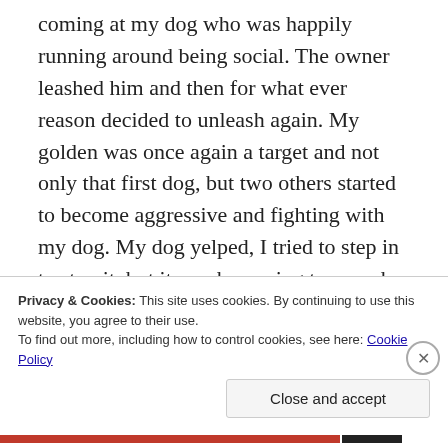coming at my dog who was happily running around being social. The owner leashed him and then for what ever reason decided to unleash again. My golden was once again a target and not only that first dog, but two others started to become aggressive and fighting with my dog. My dog yelped, I tried to step in to stop it, but it was becoming too much of a situation and was worried I would be bit. Two of the owners tried to pull their dogs. I decided to immediately leave
Privacy & Cookies: This site uses cookies. By continuing to use this website, you agree to their use. To find out more, including how to control cookies, see here: Cookie Policy
Close and accept